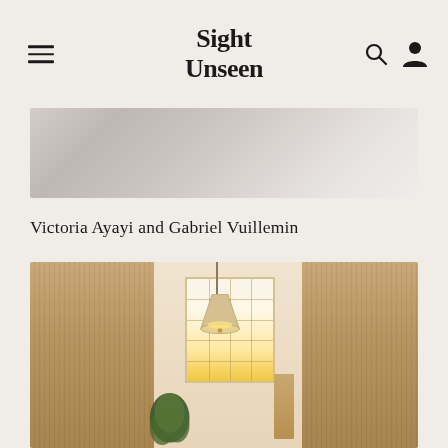Sight Unseen
[Figure (photo): Close-up detail of wrinkled white/light grey linen or fabric, soft texture visible]
Victoria Ayayi and Gabriel Vuillemin
[Figure (photo): Interior room with warm rattan/woven wall panels, white ceiling, large grid window with bright outdoor light, pendant lamp with conical shade hanging from ceiling, green plant in lower left, towel bar or mirror element on right side]